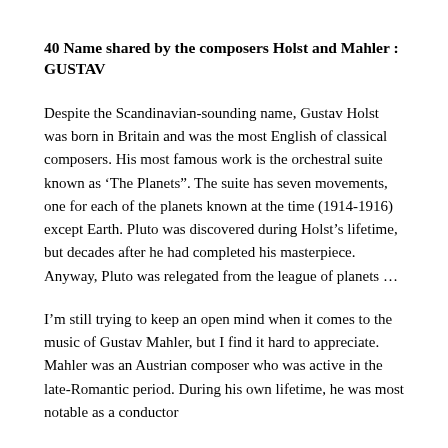40 Name shared by the composers Holst and Mahler : GUSTAV
Despite the Scandinavian-sounding name, Gustav Holst was born in Britain and was the most English of classical composers. His most famous work is the orchestral suite known as ‘The Planets”. The suite has seven movements, one for each of the planets known at the time (1914-1916) except Earth. Pluto was discovered during Holst’s lifetime, but decades after he had completed his masterpiece. Anyway, Pluto was relegated from the league of planets ...
I’m still trying to keep an open mind when it comes to the music of Gustav Mahler, but I find it hard to appreciate. Mahler was an Austrian composer who was active in the late-Romantic period. During his own lifetime, he was most notable as a conductor